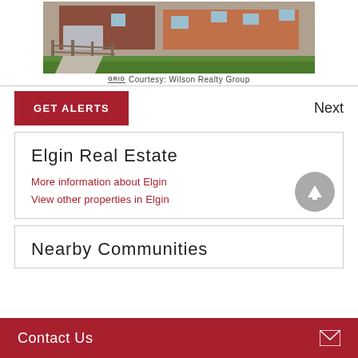[Figure (photo): Exterior photo of a brick house with wooden fence and green lawn, partial view at top of page]
GRID Courtesy: Wilson Realty Group
Next
GET ALERTS
Elgin Real Estate
More information about Elgin
View other properties in Elgin
Nearby Communities
Contact Us